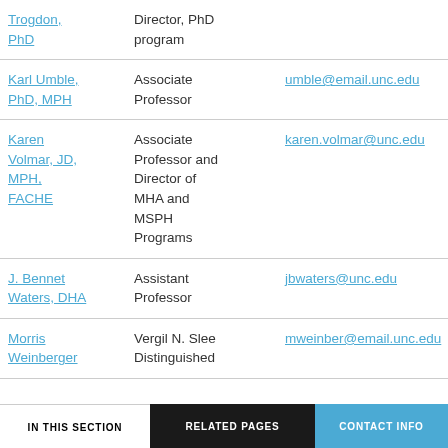| Name | Title | Email |
| --- | --- | --- |
| Trogdon, PhD | Director, PhD program |  |
| Karl Umble, PhD, MPH | Associate Professor | umble@email.unc.edu |
| Karen Volmar, JD, MPH, FACHE | Associate Professor and Director of MHA and MSPH Programs | karen.volmar@unc.edu |
| J. Bennet Waters, DHA | Assistant Professor | jbwaters@unc.edu |
| Morris Weinberger | Vergil N. Slee Distinguished | mweinber@email.unc.edu |
IN THIS SECTION | RELATED PAGES | CONTACT INFO